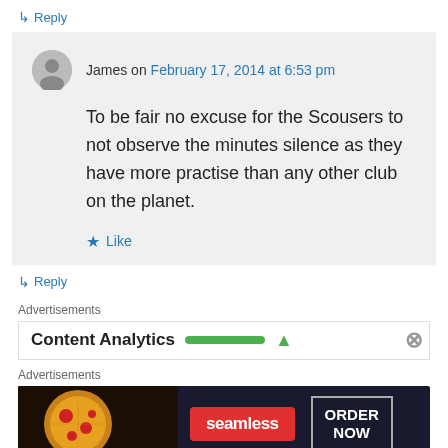↳ Reply
James on February 17, 2014 at 6:53 pm
To be fair no excuse for the Scousers to not observe the minutes silence as they have more practise than any other club on the planet.
★ Like
↳ Reply
Advertisements
Content Analytics
Advertisements
[Figure (infographic): Seamless pizza delivery advertisement with red Seamless logo and ORDER NOW button]